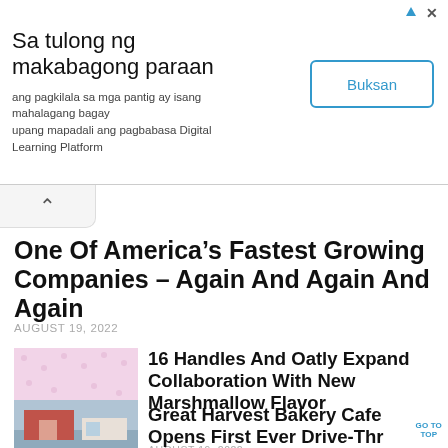[Figure (other): Advertisement banner in Filipino: 'Sa tulong ng makabagong paraan' with subtitle text and a 'Buksan' button]
One Of America’s Fastest Growing Companies – Again And Again And Again
AUGUST 19, 2022
[Figure (photo): Thumbnail image of ice cream cups with soft serve from 16 Handles and Oatly collaboration]
16 Handles And Oatly Expand Collaboration With New Marshmallow Flavor
AUGUST 19, 2022
[Figure (photo): Thumbnail image of Great Harvest Bakery Cafe building exterior]
Great Harvest Bakery Cafe Opens First Ever Drive-Thr